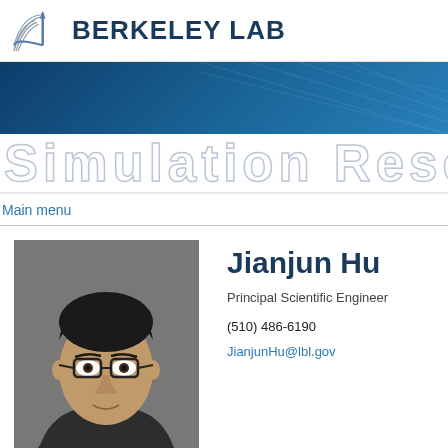BERKELEY LAB
Simulation Research
Main menu
[Figure (photo): Headshot photo of Jianjun Hu, a man with short dark hair and glasses, photographed against a gray background]
Jianjun Hu
Principal Scientific Engineer
(510) 486-6190
JianjunHu@lbl.gov